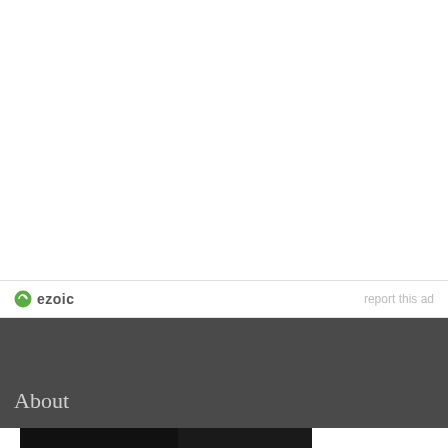[Figure (logo): Ezoic logo with green circle icon and text 'ezoic', with 'report this ad' link on the right]
About
[Figure (infographic): Pure Earth advertisement banner: black background with 'We believe the global pollution crisis can be solved.' on left, body text in middle, and Pure Earth logo on right]